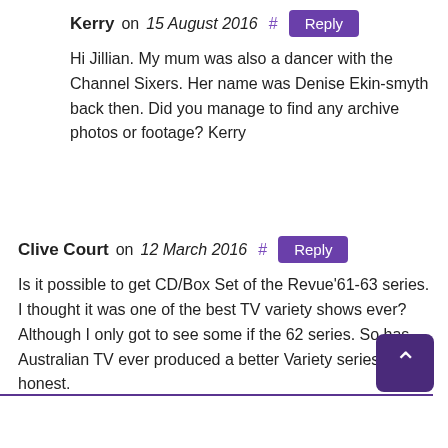Kerry on 15 August 2016 # Reply
Hi Jillian. My mum was also a dancer with the Channel Sixers. Her name was Denise Ekin-smyth back then. Did you manage to find any archive photos or footage? Kerry
Clive Court on 12 March 2016 # Reply
Is it possible to get CD/Box Set of the Revue'61-63 series. I thought it was one of the best TV variety shows ever? Although I only got to see some if the 62 series. So has Australian TV ever produced a better Variety series? Be honest.
Clive Court.
Toronto.
PS. “Variety” means not full of singers or musical acts.